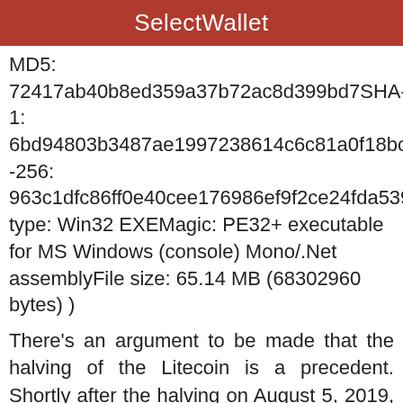SelectWallet
MD5: 72417ab40b8ed359a37b72ac8d399bd7SHA-1: 6bd94803b3487ae1997238614c6c81a0f18bcbb0SHA -256: 963c1dfc86ff0e40cee176986ef9f2ce24fda53936c16f226c7387e1a3d67f74File type: Win32 EXEMagic: PE32+ executable for MS Windows (console) Mono/.Net assemblyFile size: 65.14 MB (68302960 bytes) )
There's an argument to be made that the halving of the Litecoin is a precedent. Shortly after the halving on August 5, 2019, the Litecoin experienced a massive sell-off, dropping over the next four months Nearly half the price before the halving
In the age of the Internet, China is often at the mercy of st...